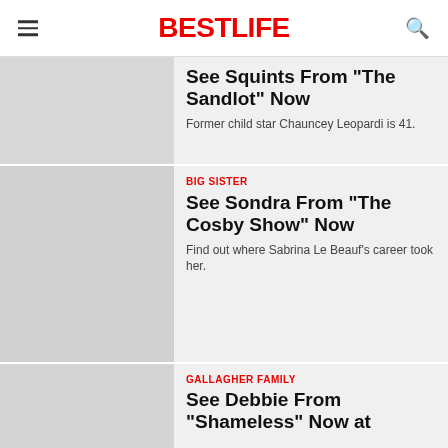BESTLIFE
See Squints From "The Sandlot" Now
Former child star Chauncey Leopardi is 41.
BIG SISTER
See Sondra From "The Cosby Show" Now
Find out where Sabrina Le Beauf's career took her.
GALLAGHER FAMILY
See Debbie From "Shameless" Now at